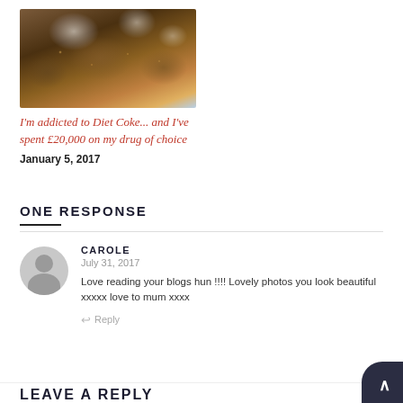[Figure (photo): Close-up photo of cola drink with ice cubes in a glass]
I'm addicted to Diet Coke... and I've spent £20,000 on my drug of choice
January 5, 2017
ONE RESPONSE
CAROLE
July 31, 2017
Love reading your blogs hun !!!! Lovely photos you look beautiful xxxxx love to mum xxxx
Reply
LEAVE A REPLY